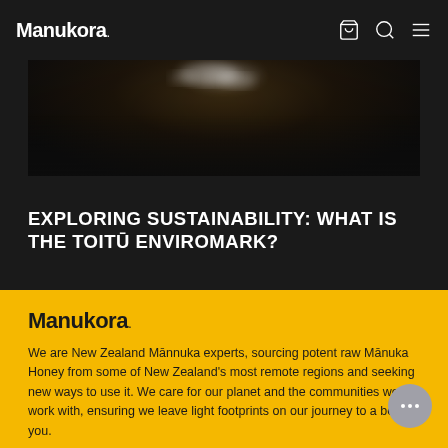Manukora.
[Figure (photo): Dark blurred photo showing what appears to be white flowers or blossoms against a dark background, partially obscured]
EXPLORING SUSTAINABILITY: WHAT IS THE TOITŪ ENVIROMARK?
[Figure (logo): Manukora. logo in black on yellow background]
We are New Zealand Mānuka experts, sourcing potent raw Mānuka Honey from some of New Zealand's most remote regions and seeking new ways to use it. We care for our planet and the communities we work with, ensuring we leave light footprints on our journey to a better you.